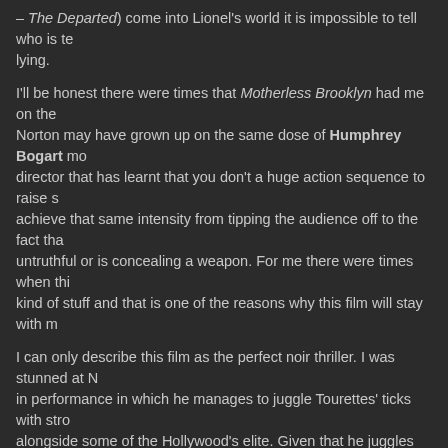– The Departed) come into Lionel's world it is impossible to tell who is telling the truth and who is lying.
I'll be honest there were times that Motherless Brooklyn had me on the edge of my seat. Norton may have grown up on the same dose of Humphrey Bogart movies as I have and he is a director that has learnt that you don't a huge action sequence to raise stakes, you can achieve that same intensity from tipping the audience off to the fact that a character is being untruthful or is concealing a weapon. For me there were times when this film excelled at that kind of stuff and that is one of the reasons why this film will stay with me.
I can only describe this film as the perfect noir thriller. I was stunned at Norton's all round in performance in which he manages to juggle Tourettes' ticks with strong dialogue and act alongside some of the Hollywood's elite. Given that he juggles that with directing a screenplay that explores topics as diverse as interracial relationships during the 1950s and New York corruption and I can only concur that Norton is one of the best filmmakers of his generation.
Very few films have ever made me feel like I wanted to turn around and walk back into the cinema to watch it again – but that is exactly how Motherless Brooklyn made me feel. It is a beautiful suspense film that showcases some of Hollywood's best acting talent whilst keeping a unique noir feeling.
[Figure (other): Four orange star rating icons]